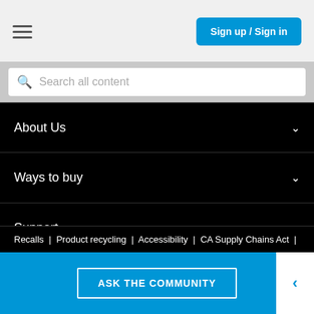Sign up / Sign in
Search all content
About Us
Ways to buy
Support
HP Partners
Stay connected
Recalls | Product recycling | Accessibility | CA Supply Chains Act |
ASK THE COMMUNITY